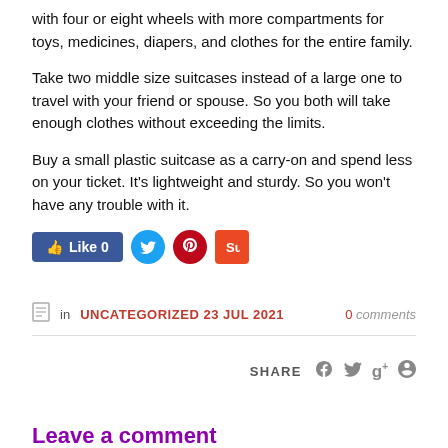with four or eight wheels with more compartments for toys, medicines, diapers, and clothes for the entire family.
Take two middle size suitcases instead of a large one to travel with your friend or spouse. So you both will take enough clothes without exceeding the limits.
Buy a small plastic suitcase as a carry-on and spend less on your ticket. It's lightweight and sturdy. So you won't have any trouble with it.
[Figure (other): Social sharing buttons: Facebook Like (0), Twitter, Pinterest, StumbleUpon]
in UNCATEGORIZED 23 JUL 2021   0 comments
SHARE with social icons: Facebook, Twitter, Google+, Pinterest
Leave a comment